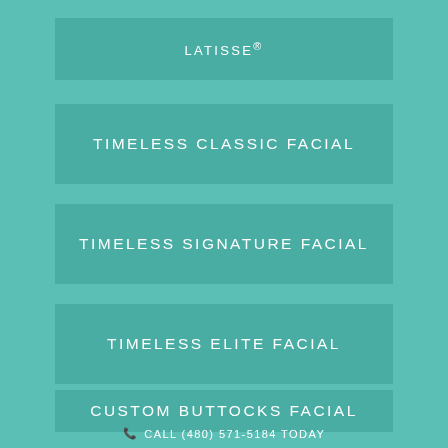LATISSE®
TIMELESS CLASSIC FACIAL
TIMELESS SIGNATURE FACIAL
TIMELESS ELITE FACIAL
CUSTOM BUTTOCKS FACIAL
CALL (480) 571-5184 TODAY